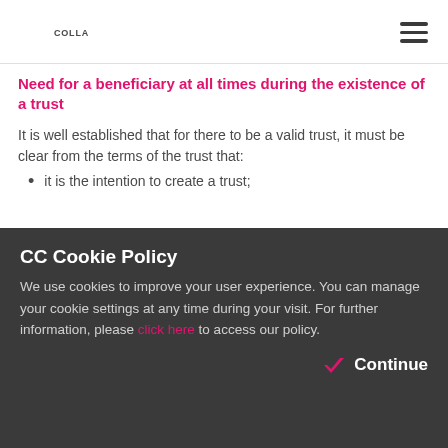COLLAS·CRILL
Need for a beneficiary at all times during the existence of a trust
It is well established that for there to be a valid trust, it must be clear from the terms of the trust that:
it is the intention to create a trust;
CC Cookie Policy
We use cookies to improve your user experience. You can manage your cookie settings at any time during your visit. For further information, please click here to access our policy.
Continue